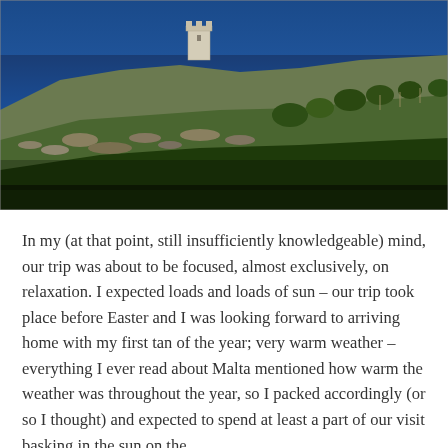[Figure (photo): Landscape photo of a rocky hillside with green grass in the foreground, limestone rocks, a white stone watchtower on the hilltop, and a deep blue sea in the background under a clear sky.]
In my (at that point, still insufficiently knowledgeable) mind, our trip was about to be focused, almost exclusively, on relaxation. I expected loads and loads of sun – our trip took place before Easter and I was looking forward to arriving home with my first tan of the year; very warm weather – everything I ever read about Malta mentioned how warm the weather was throughout the year, so I packed accordingly (or so I thought) and expected to spend at least a part of our visit basking in the sun on the